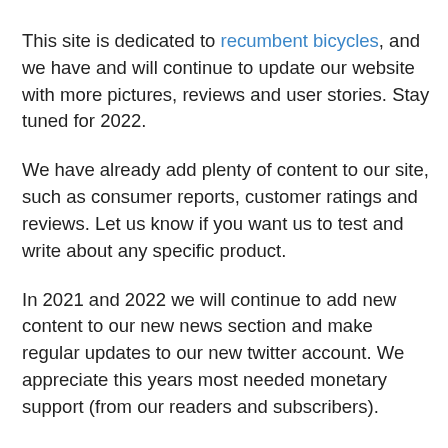This site is dedicated to recumbent bicycles, and we have and will continue to update our website with more pictures, reviews and user stories. Stay tuned for 2022.
We have already add plenty of content to our site, such as consumer reports, customer ratings and reviews. Let us know if you want us to test and write about any specific product.
In 2021 and 2022 we will continue to add new content to our new news section and make regular updates to our new twitter account. We appreciate this years most needed monetary support (from our readers and subscribers).
Here is something (a video!)to watch in the meantime: 🎬